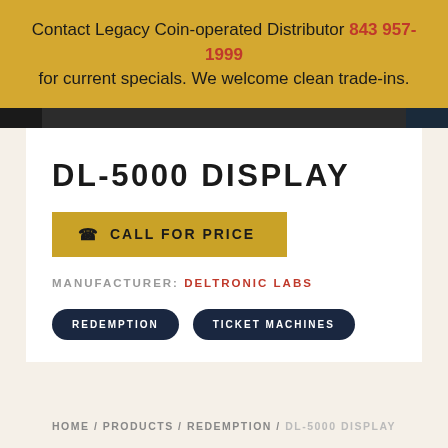Contact Legacy Coin-operated Distributor 843 957-1999 for current specials. We welcome clean trade-ins.
DL-5000 DISPLAY
CALL FOR PRICE
MANUFACTURER: DELTRONIC LABS
REDEMPTION
TICKET MACHINES
HOME / PRODUCTS / REDEMPTION / DL-5000 DISPLAY